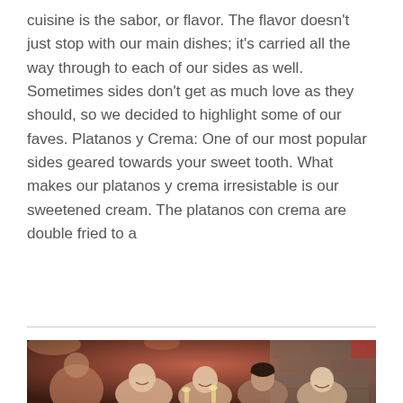cuisine is the sabor, or flavor. The flavor doesn't just stop with our main dishes; it's carried all the way through to each of our sides as well. Sometimes sides don't get as much love as they should, so we decided to highlight some of our faves. Platanos y Crema: One of our most popular sides geared towards your sweet tooth. What makes our platanos y crema irresistable is our sweetened cream. The platanos con crema are double fried to a
[Figure (photo): A group of young women laughing and toasting drinks together at a restaurant with warm red lighting and a stone brick wall in the background.]